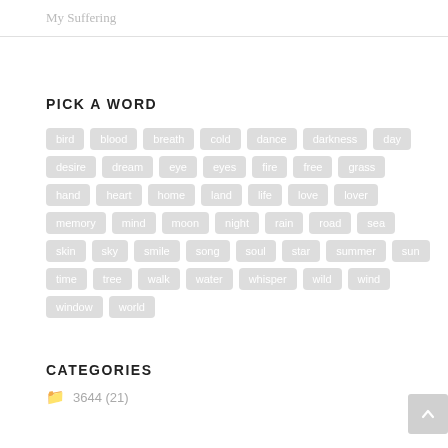My Suffering
PICK A WORD
bird blood breath cold dance darkness day desire dream eye eyes fire free grass hand heart home land life love lover memory mind moon night rain road sea skin sky smile song soul star summer sun time tree walk water whisper wild wind window world
CATEGORIES
3644 (21)